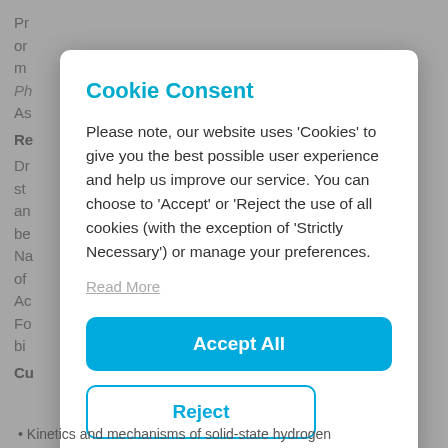Pr
or
m
Ph
As
Re
Dr
st
an
be
Na
of
Ac
Fo
bi
Cu
Cookie Consent
Please note, our website uses 'Cookies' to give you the best possible user experience and help us improve our service. You can choose to 'Accept' or 'Reject the use of all cookies (with the exception of 'Strictly Necessary') or manage your preferences.
Read More
Accept All
Reject
Kinetics and mechanisms of solid-state hydrogen